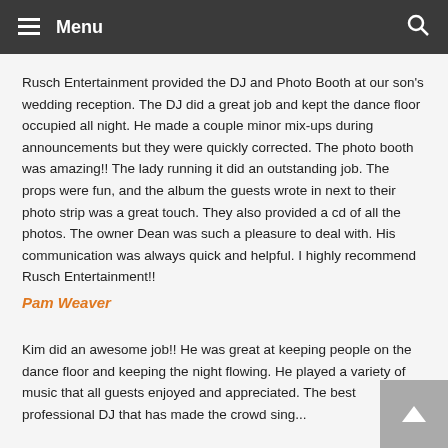Menu
Rusch Entertainment provided the DJ and Photo Booth at our son's wedding reception. The DJ did a great job and kept the dance floor occupied all night. He made a couple minor mix-ups during announcements but they were quickly corrected. The photo booth was amazing!! The lady running it did an outstanding job. The props were fun, and the album the guests wrote in next to their photo strip was a great touch. They also provided a cd of all the photos. The owner Dean was such a pleasure to deal with. His communication was always quick and helpful. I highly recommend Rusch Entertainment!!
Pam Weaver
Kim did an awesome job!! He was great at keeping people on the dance floor and keeping the night flowing. He played a variety of music that all guests enjoyed and appreciated. The best professional DJ that has made the crowd sing...